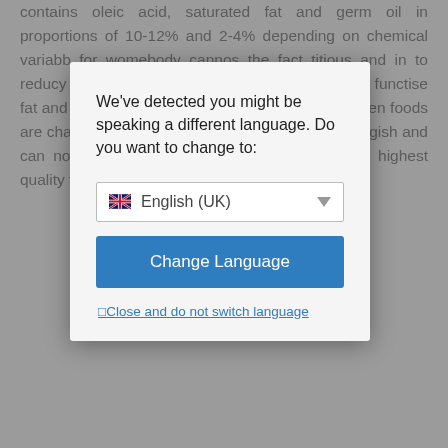contains oleic acid, saturated fat and germ oil in proportions of 10-12% and 2-4% depending on chemical variab... for wome... body canno... s the fact t... itious and ... in to reduc... y and stam... The m... are: The h... ently. A hig... ds to functi... se fat and develop a higher metabolism. However, when foods are changed or processed, the body becomes sluggish and can no longer convert the fats into energy. The highest quality form of fat for weight loss is coconut oil.
[Figure (screenshot): Language switch modal dialog overlay on a webpage. The dialog reads: 'We've detected you might be speaking a different language. Do you want to change to:' with a dropdown showing 'English (UK)' with UK flag, a blue 'Change Language' button, and a link '⬜Close and do not switch language'.]